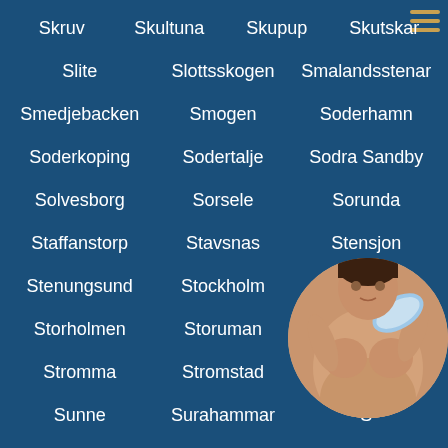Skruv   Skultuna   Skupup   Skutskar
Slite   Slottsskogen   Smalandsstenar
Smedjebacken   Smogen   Soderhamn
Soderkoping   Sodertalje   Sodra Sandby
Solvesborg   Sorsele   Sorunda
Staffanstorp   Stavsnas   Stensjon
Stenungsund   Stockholm   Storfors
Storholmen   Storuman   Storvreta
Stromma   Stromstad   Str...
Sunne   Surahammar   S...
Svenljunga   Taby   Tanumshede
[Figure (photo): Circular cropped photo of a person in the bottom right corner, partially obscuring the text]